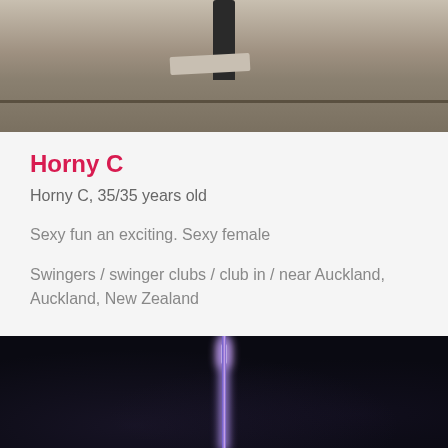[Figure (photo): Top portion of a photo showing a close-up of what appears to be outdoor furniture or a railing, light-colored surfaces with a dark pole/post visible at top center.]
Horny C
Horny C, 35/35 years old
Sexy fun an exciting. Sexy female
Swingers / swinger clubs / club in / near Auckland, Auckland, New Zealand
[Figure (photo): Night photo showing the Sky Tower in Auckland illuminated in purple/white against a dark sky.]